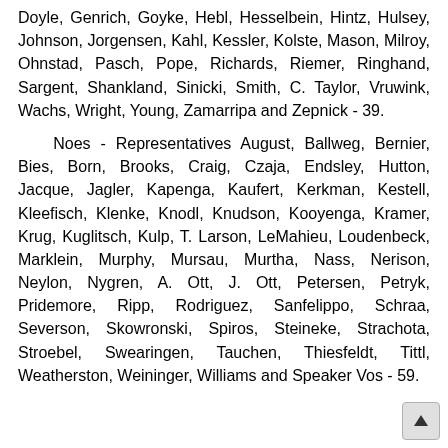Doyle, Genrich, Goyke, Hebl, Hesselbein, Hintz, Hulsey, Johnson, Jorgensen, Kahl, Kessler, Kolste, Mason, Milroy, Ohnstad, Pasch, Pope, Richards, Riemer, Ringhand, Sargent, Shankland, Sinicki, Smith, C. Taylor, Vruwink, Wachs, Wright, Young, Zamarripa and Zepnick - 39.
Noes - Representatives August, Ballweg, Bernier, Bies, Born, Brooks, Craig, Czaja, Endsley, Hutton, Jacque, Jagler, Kapenga, Kaufert, Kerkman, Kestell, Kleefisch, Klenke, Knodl, Knudson, Kooyenga, Kramer, Krug, Kuglitsch, Kulp, T. Larson, LeMahieu, Loudenbeck, Marklein, Murphy, Mursau, Murtha, Nass, Nerison, Neylon, Nygren, A. Ott, J. Ott, Petersen, Petryk, Pridemore, Ripp, Rodriguez, Sanfelippo, Schraa, Severson, Skowronski, Spiros, Steineke, Strachota, Stroebel, Swearingen, Tauchen, Thiesfeldt, Tittl, Weatherston, Weininger, Williams and Speaker Vos - 59.